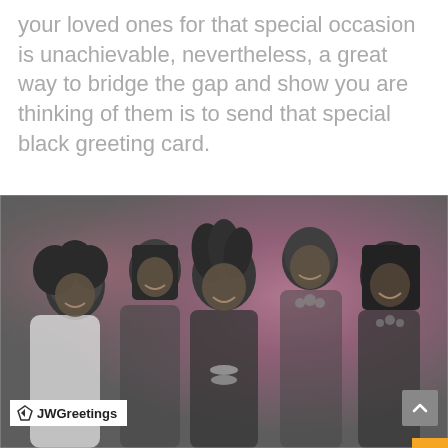your loved ones for that special occasion is unachievable, nevertheless, a great way to bridge the gap and show you are thinking of them is to send that special black greeting card.
[Figure (photo): Black and white group photo of five smiling women looking at something together, with a pink/purple gradient background. JWGreetings watermark visible in lower left corner.]